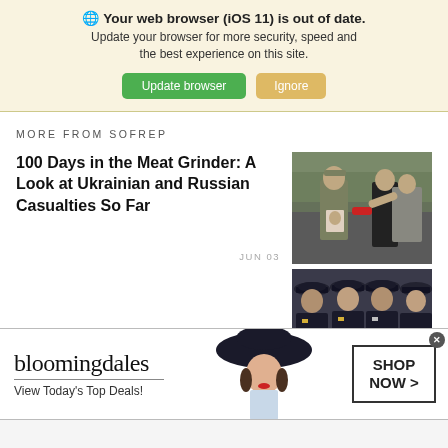🌐 Your web browser (iOS 11) is out of date. Update your browser for more security, speed and the best experience on this site. [Update browser] [Ignore]
MORE FROM SOFREP
100 Days in the Meat Grinder: A Look at Ukrainian and Russian Casualties So Far
JUN 03
[Figure (photo): A soldier in camouflage uniform holding a portrait photo, with people embracing in background at what appears to be a memorial]
[Figure (photo): Military officers in dark uniforms with peaked caps, partial view]
T__S and Russia Both Made Mistakes in the run up to
[Figure (screenshot): Bloomingdale's advertisement banner: logo, 'View Today's Top Deals!', woman in wide-brim hat, 'SHOP NOW >' button]